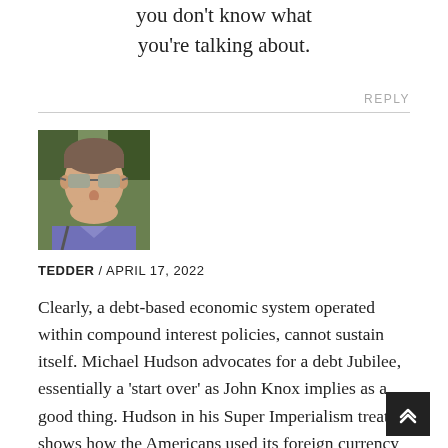you don't know what you're talking about.
REPLY
[Figure (photo): Headshot photo of a man wearing sunglasses and a purple/blue shirt, outdoors with greenery in background]
TEDDER / APRIL 17, 2022
Clearly, a debt-based economic system operated within compound interest policies, cannot sustain itself. Michael Hudson advocates for a debt Jubilee, essentially a ‘start over’ as John Knox implies as a good thing. Hudson in his Super Imperialism treatise shows how the Americans used its foreign currency